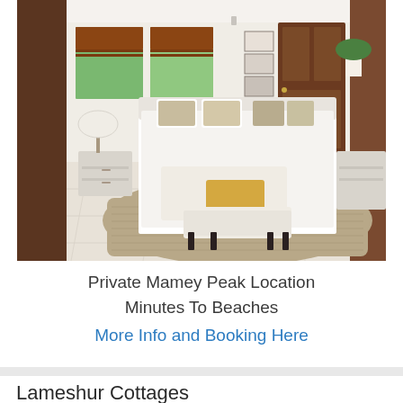[Figure (photo): Interior photo of a bright bedroom with a large white bed, bench at foot, two white nightstands, brown roman shade windows, wooden doors, and a woven area rug on tile floor.]
Private Mamey Peak Location
Minutes To Beaches
More Info and Booking Here
Lameshur Cottages